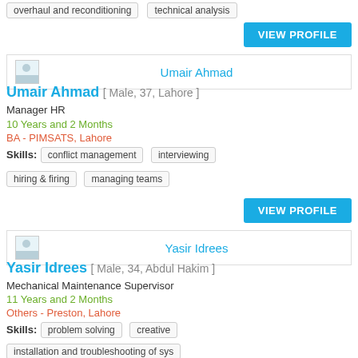overhaul and reconditioning   technical analysis
VIEW PROFILE
Umair Ahmad
Umair Ahmad [ Male, 37, Lahore ]
Manager HR
10 Years and 2 Months
BA - PIMSATS, Lahore
Skills: conflict management   interviewing   hiring & firing   managing teams
VIEW PROFILE
Yasir Idrees
Yasir Idrees [ Male, 34, Abdul Hakim ]
Mechanical Maintenance Supervisor
11 Years and 2 Months
Others - Preston, Lahore
Skills: problem solving   creative   installation and troubleshooting of sys